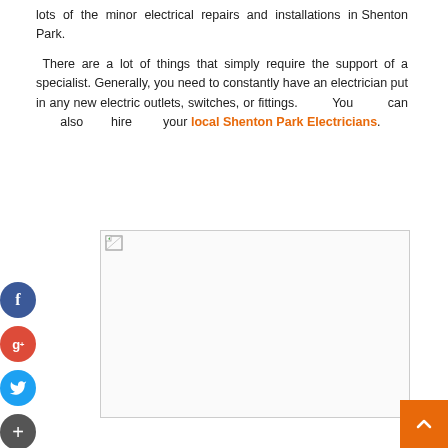lots of the minor electrical repairs and installations in Shenton Park.
There are a lot of things that simply require the support of a specialist. Generally, you need to constantly have an electrician put in any new electric outlets, switches, or fittings. You can also hire your local Shenton Park Electricians.
[Figure (photo): Placeholder image with broken image icon in top-left corner, white background with light gray border]